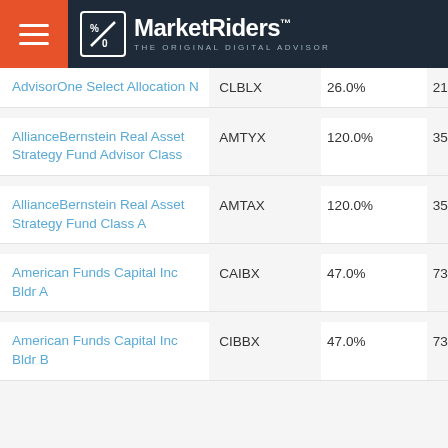MarketRiders - The Original Digital Advisor
| Fund Name | Ticker | Turnover | Holdings | Expense |
| --- | --- | --- | --- | --- |
| AdvisorOne Select Allocation N | CLBLX | 26.0% | 212 | 1.42 |
| AllianceBernstein Real Asset Strategy Fund Advisor Class | AMTYX | 120.0% | 354 | 0.75 |
| AllianceBernstein Real Asset Strategy Fund Class A | AMTAX | 120.0% | 354 | 1.05 |
| American Funds Capital Inc Bldr A | CAIBX | 47.0% | 73,800 | 0.61 |
| American Funds Capital Inc Bldr B | CIBBX | 47.0% | 73,800 | 1.38 |